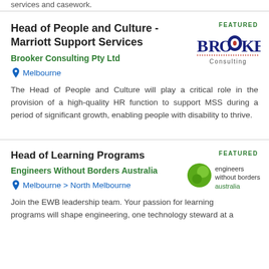services and casework.
Head of People and Culture - Marriott Support Services
Brooker Consulting Pty Ltd
Melbourne
FEATURED
[Figure (logo): Brooker Consulting logo with red and blue serif text]
The Head of People and Culture will play a critical role in the provision of a high-quality HR function to support MSS during a period of significant growth, enabling people with disability to thrive.
Head of Learning Programs
Engineers Without Borders Australia
Melbourne > North Melbourne
FEATURED
[Figure (logo): Engineers Without Borders Australia logo with green hexagon shape]
Join the EWB leadership team. Your passion for learning programs will shape engineering, one technology steward at a